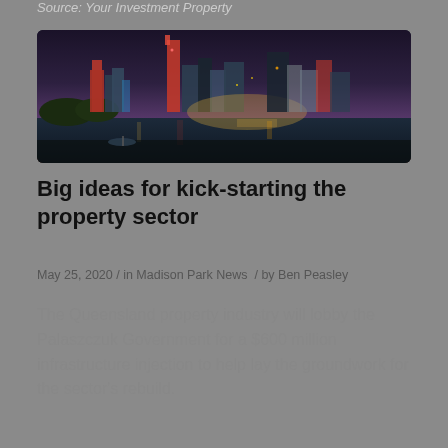Source: Your Investment Property
[Figure (photo): Night cityscape of Brisbane city skyline reflected in the Brisbane River, with illuminated skyscrapers and warm city lights against a dusk sky.]
Big ideas for kick-starting the property sector
May 25, 2020 / in Madison Park News / by Ben Peasley
The Queensland property industry will lobby the Palaszczuk Government for a $600 million infrastructure injection to help lay the groundwork for the sector's rebuild.